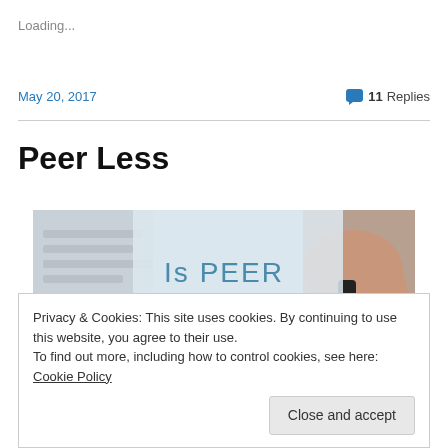Loading...
May 20, 2017
💬 11 Replies
Peer Less
[Figure (photo): Banner image with text 'Is PEER REVIEW' overlaid on a background showing a hand holding a pen/marker near paper]
Privacy & Cookies: This site uses cookies. By continuing to use this website, you agree to their use.
To find out more, including how to control cookies, see here: Cookie Policy
Close and accept